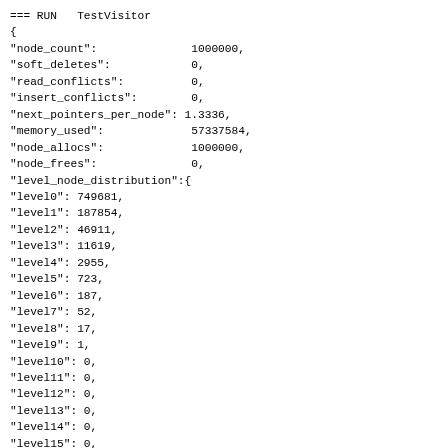=== RUN   TestVisitor
{
"node_count":              1000000,
"soft_deletes":           0,
"read_conflicts":         0,
"insert_conflicts":       0,
"next_pointers_per_node": 1.3336,
"memory_used":            57337584,
"node_allocs":            1000000,
"node_frees":             0,
"level_node_distribution":{
"level0": 749681,
"level1": 187854,
"level2": 46911,
"level3": 11619,
"level4": 2955,
"level5": 723,
"level6": 187,
"level7": 52,
"level8": 17,
"level9": 1,
"level10": 0,
"level11": 0,
"level12": 0,
"level13": 0,
"level14": 0,
"level15": 0,
"level16": 0,
"level17": 0,
"level18": 0,